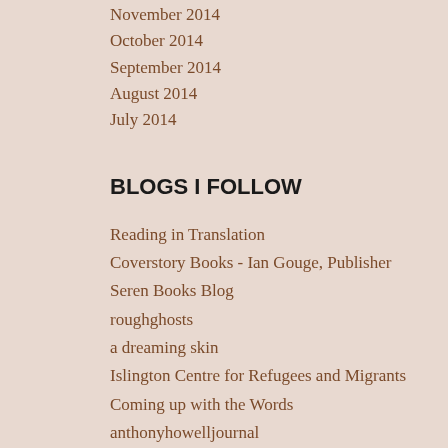November 2014
October 2014
September 2014
August 2014
July 2014
BLOGS I FOLLOW
Reading in Translation
Coverstory Books - Ian Gouge, Publisher
Seren Books Blog
roughghosts
a dreaming skin
Islington Centre for Refugees and Migrants
Coming up with the Words
anthonyhowelljournal
WordPress.com News
Arachne Press
Poetry Owl
The Luxembourg Review
The Bell Jar